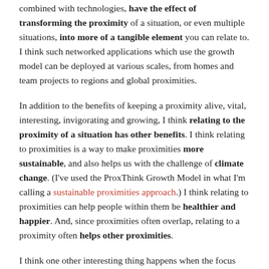combined with technologies, have the effect of transforming the proximity of a situation, or even multiple situations, into more of a tangible element you can relate to. I think such networked applications which use the growth model can be deployed at various scales, from homes and team projects to regions and global proximities.
In addition to the benefits of keeping a proximity alive, vital, interesting, invigorating and growing, I think relating to the proximity of a situation has other benefits. I think relating to proximities is a way to make proximities more sustainable, and also helps us with the challenge of climate change. (I've used the ProxThink Growth Model in what I'm calling a sustainable proximities approach.) I think relating to proximities can help people within them be healthier and happier. And, since proximities often overlap, relating to a proximity often helps other proximities.
I think one other interesting thing happens when the focus